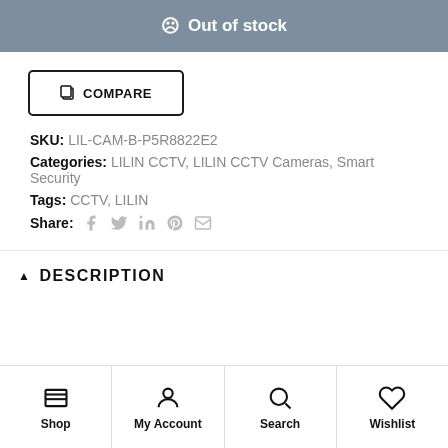Out of stock
COMPARE
SKU: LIL-CAM-B-P5R8822E2
Categories: LILIN CCTV, LILIN CCTV Cameras, Smart Security
Tags: CCTV, LILIN
Share:
DESCRIPTION
Shop | My Account | Search | Wishlist